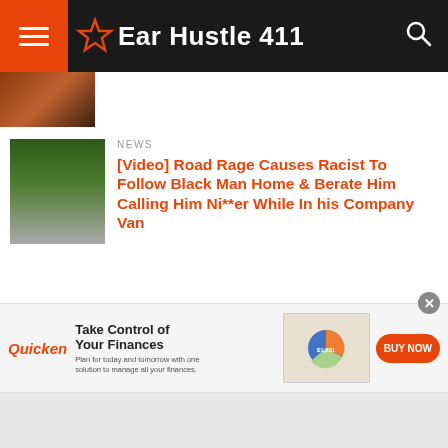Ear Hustle 411
[Figure (screenshot): Partial article thumbnail at top]
NEWS
[Video] Road Rage Causes Racist To Follow Black Man Home & Berate Him Calling Him Ni**er While In his Company Van
NEWS
Racist White Man Is Alleged to Have Randomly Stabbed an 18-Year Old Black Girl In The Throat Killing Her & Injuring Her Sister
[Figure (screenshot): Quicken advertisement banner: Take Control of Your Finances - Plan for today and tomorrow with one solution to manage all your finances. BUY NOW button.]